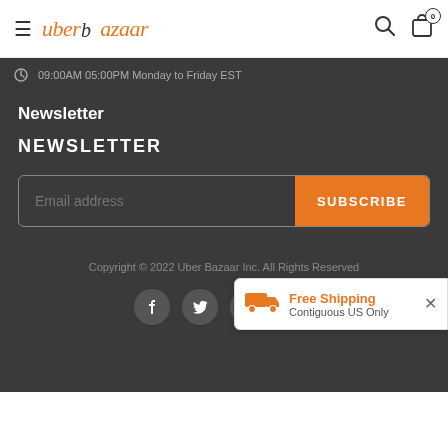uber bazaar — navigation header with hamburger menu, logo, search and cart icons
09:00AM 05:00PM Monday to Friday EST
Newsletter
NEWSLETTER
Email address [input field] SUBSCRIBE [button]
Copyright © 2022 Uber Bazaar Inc. All Rights Reserved
[Figure (infographic): Social media icons: Facebook, Twitter, Pinterest, Instagram — white icons on dark circular backgrounds]
[Figure (infographic): Free Shipping banner — Contiguous US Only, with delivery truck icon in orange, and close X button]